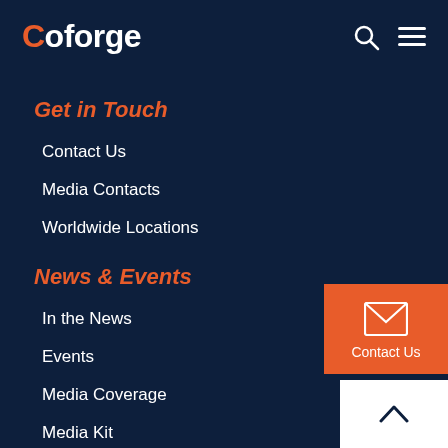Coforge
Get in Touch
Contact Us
Media Contacts
Worldwide Locations
News & Events
In the News
Events
Media Coverage
Media Kit
Our Companies
AdvantageGo
Whishworks
SLK Global
[Figure (illustration): Contact Us button with envelope icon]
[Figure (illustration): Scroll to top button with upward caret]